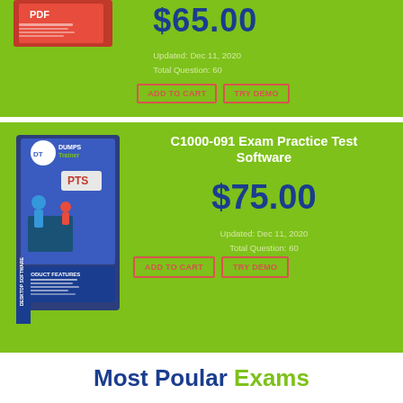[Figure (photo): Red PDF exam product box with Dumps Trainer logo]
$65.00
Updated: Dec 11, 2020
Total Question: 60
ADD TO CART  TRY DEMO
[Figure (photo): Blue PTS Desktop Software exam product box with Dumps Trainer logo and blue figure at whiteboard]
C1000-091 Exam Practice Test Software
$75.00
Updated: Dec 11, 2020
Total Question: 60
ADD TO CART  TRY DEMO
Most Poular Exams